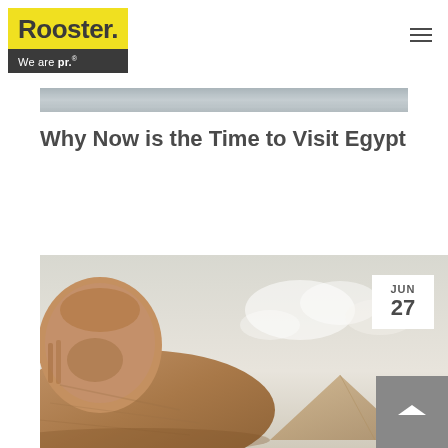Rooster. We are pr.
[Figure (photo): Partial view of a water or river scene — grey/silver horizontal landscape strip at top of article]
Why Now is the Time to Visit Egypt
[Figure (photo): Close-up photograph of the Great Sphinx of Giza against a cloudy sky, with a pyramid visible in the background. A white date badge shows JUN 27. A grey scroll-to-top button with upward chevron appears in the bottom-right corner.]